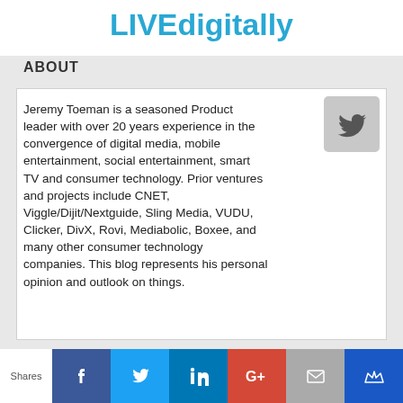LIVEdigitally
ABOUT
Jeremy Toeman is a seasoned Product leader with over 20 years experience in the convergence of digital media, mobile entertainment, social entertainment, smart TV and consumer technology. Prior ventures and projects include CNET, Viggle/Dijit/Nextguide, Sling Media, VUDU, Clicker, DivX, Rovi, Mediabolic, Boxee, and many other consumer technology companies. This blog represents his personal opinion and outlook on things.
[Figure (logo): Twitter bird icon in a gray rounded square]
RECENT POSTS
Back on the wagon/horse?